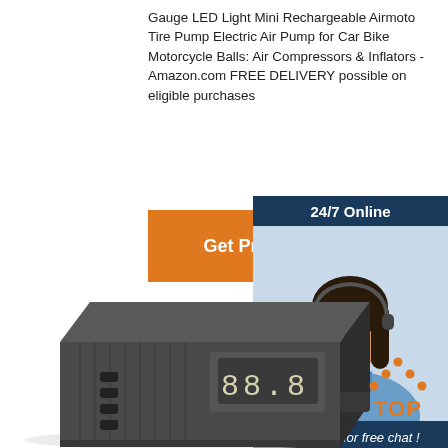Gauge LED Light Mini Rechargeable Airmoto Tire Pump Electric Air Pump for Car Bike Motorcycle Balls: Air Compressors & Inflators - Amazon.com FREE DELIVERY possible on eligible purchases
[Figure (other): Orange 'Get Price' button]
[Figure (other): Advertisement box with '24/7 Online' header, photo of woman with headset smiling, 'Click here for free chat!' text, and orange QUOTATION button]
[Figure (photo): Photo of a dark grey mini rechargeable electric tire pump (Airmoto) with digital display and buttons on the face, viewed from a low angle]
[Figure (logo): TOP logo with orange dots arranged in a triangle above the word TOP in orange]